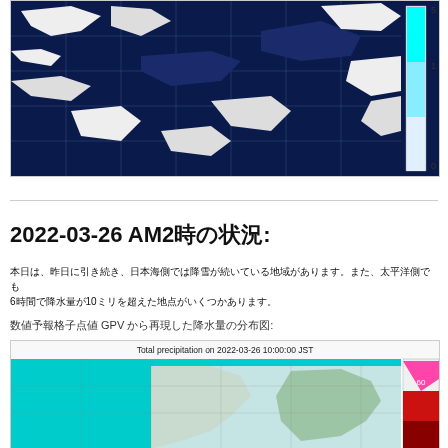[Figure (map): Satellite/radar map showing ocean and land areas in dark blue and white, with a color scale bar on the right (0-5) in cyan/white gradient. Gridlines overlay the map.]
2022-03-26 AM2時の状況:
本日は、昨日に引き続き、日本海側では降雪が続いている地域があります。また、太平洋側でも6時間で降水量が10ミリを超えた地点がいくつかあります。
数値予報格子点値 GPV から再現した降水量の分布図:
[Figure (map): Total precipitation map on 2022-03-26 10:00:00 JST. Shows Japan and surrounding ocean with cyan precipitation areas over ocean and land. Color scale on right shows 0-60+ scale in pink/red gradient.]